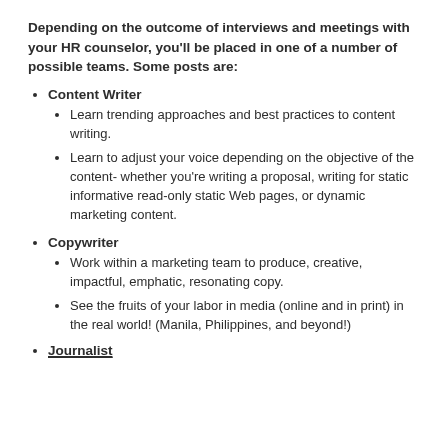Depending on the outcome of interviews and meetings with your HR counselor, you'll be placed in one of a number of possible teams. Some posts are:
Content Writer
Learn trending approaches and best practices to content writing.
Learn to adjust your voice depending on the objective of the content- whether you're writing a proposal, writing for static informative read-only static Web pages, or dynamic marketing content.
Copywriter
Work within a marketing team to produce, creative, impactful, emphatic, resonating copy.
See the fruits of your labor in media (online and in print) in the real world! (Manila, Philippines, and beyond!)
Journalist